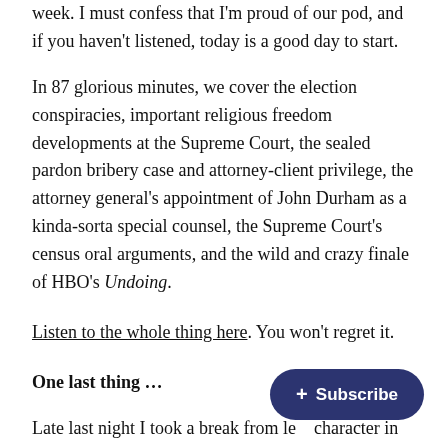week. I must confess that I'm proud of our pod, and if you haven't listened, today is a good day to start.
In 87 glorious minutes, we cover the election conspiracies, important religious freedom developments at the Supreme Court, the sealed pardon bribery case and attorney-client privilege, the attorney general's appointment of John Durham as a kinda-sorta special counsel, the Supreme Court's census oral arguments, and the wild and crazy finale of HBO's Undoing.
Listen to the whole thing here. You won't regret it.
One last thing …
Late last night I took a break from le… character in World of Warcraft: Shado… promptly fall down a YouTube rabbit hole of animated